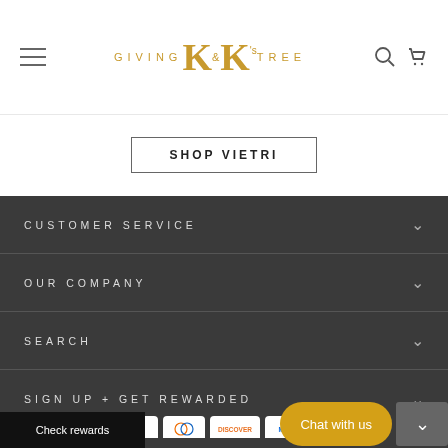Giving K&K's Tree — navigation header with logo, hamburger menu, search and cart icons
SHOP VIETRI
CUSTOMER SERVICE
OUR COMPANY
SEARCH
SIGN UP + GET REWARDED
[Figure (screenshot): Payment method icons: Amazon, Amex, Apple Pay, Diners Club, Discover, Meta Pay, OPay, Venmo, Visa]
Check rewards
Chat with us